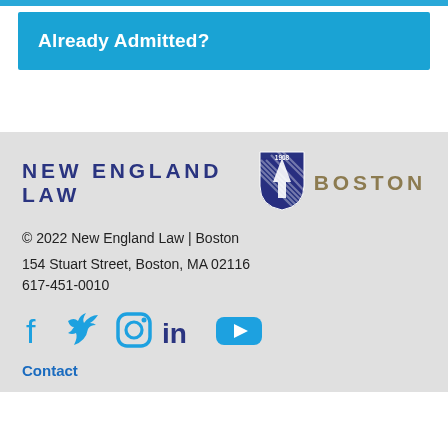Already Admitted?
[Figure (logo): New England Law Boston logo with shield emblem dated 1908]
© 2022 New England Law | Boston
154 Stuart Street, Boston, MA 02116
617-451-0010
[Figure (infographic): Social media icons: Facebook, Twitter, Instagram, LinkedIn, YouTube]
Contact